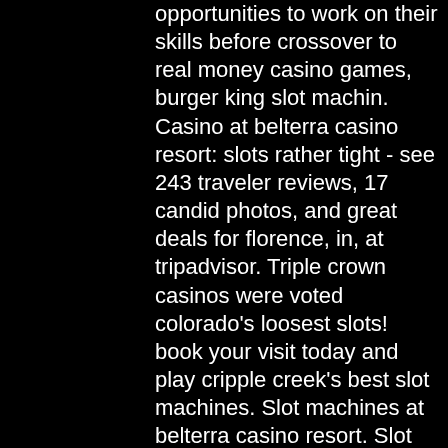opportunities to work on their skills before crossover to real money casino games, burger king slot machin. Casino at belterra casino resort: slots rather tight - see 243 traveler reviews, 17 candid photos, and great deals for florence, in, at tripadvisor. Triple crown casinos were voted colorado's loosest slots! book your visit today and play cripple creek's best slot machines. Slot machines at belterra casino resort. Slot machines at belterra casino resort. Tag a new game here. Bier haus slot machine. Whether you're up for a round at the slots, a hand of blackjack. Best slots at belterra casino - best chance in our casino. Pai go poker - best chance! any currency - payment without commission. Best slots at belterra casino cincinnati - best winning in our casino. All types of cryptocurrencies - payment without commission. Joker poker - top scores! Best slots at belterra casino directions - best chance in our casino. Any bets - only for our